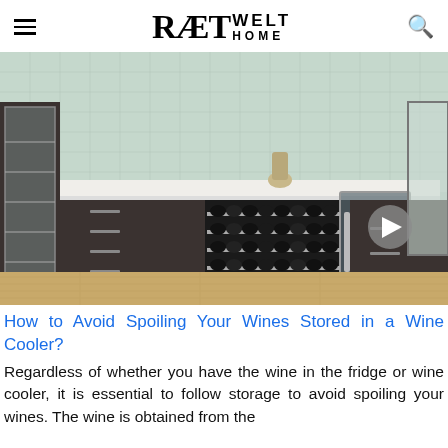RÆT WELT HOME
[Figure (photo): A wine cooler built into dark wood cabinetry, with glass door open revealing multiple shelves of wine bottles, in a modern kitchen with light hardwood floor and teal tile backsplash.]
How to Avoid Spoiling Your Wines Stored in a Wine Cooler?
Regardless of whether you have the wine in the fridge or wine cooler, it is essential to follow storage to avoid spoiling your wines. The wine is obtained from the